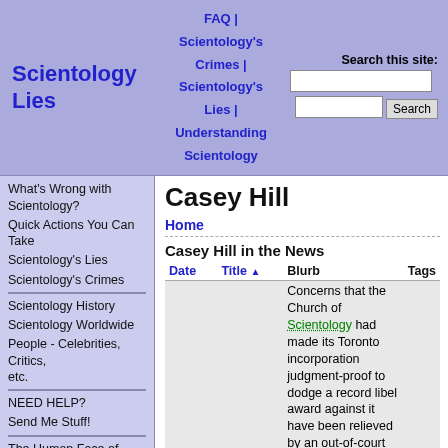Scientology Lies | FAQ | Scientology's Crimes | Scientology's Lies | Understanding Scientology | Search this site
Casey Hill
Home
Casey Hill in the News
| Date | Title | Blurb | Tags |
| --- | --- | --- | --- |
|  |  | Concerns that the Church of Scientology had made its Toronto incorporation judgment-proof to dodge a record libel award against it have been relieved by an out-of-court settlement approved by the Ontario Court of Appeal |  |
What's Wrong with Scientology?
Quick Actions You Can Take
Scientology's Lies
Scientology's Crimes
Scientology History
Scientology Worldwide
People - Celebrities, Critics, etc.
NEED HELP?
Send Me Stuff!
The Human Face of Scientology
If You're A Scientologist